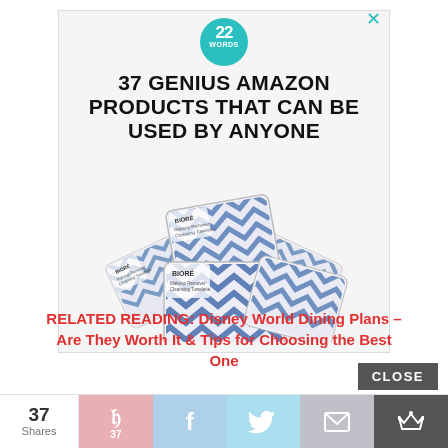[Figure (illustration): Advertisement box with 22 Words logo circle in teal, close X button, heading '37 GENIUS AMAZON PRODUCTS THAT CAN BE USED BY ANYONE', and product image of makeup remover wipe packets with blue chevron pattern]
RELATED READING: Disney World Dining Plans – Are They Worth It & Tips for Choosing the Best One
[Figure (other): CLOSE button (dark grey rectangle with white text)]
[Figure (infographic): Share bar at bottom: 37 Shares count, Pinterest (P/37), Facebook (f), Twitter (bird), email (envelope), save (crown) buttons]